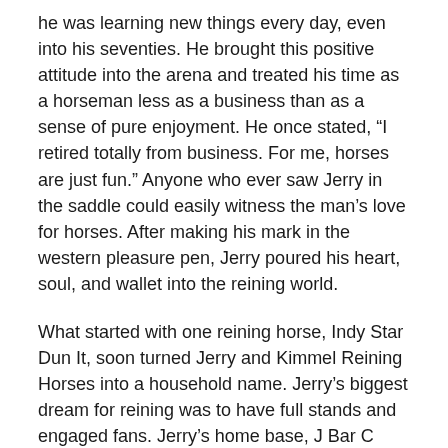he was learning new things every day, even into his seventies. He brought this positive attitude into the arena and treated his time as a horseman less as a business than as a sense of pure enjoyment. He once stated, “I retired totally from business. For me, horses are just fun.” Anyone who ever saw Jerry in the saddle could easily witness the man’s love for horses. After making his mark in the western pleasure pen, Jerry poured his heart, soul, and wallet into the reining world.
What started with one reining horse, Indy Star Dun It, soon turned Jerry and Kimmel Reining Horses into a household name. Jerry’s biggest dream for reining was to have full stands and engaged fans. Jerry’s home base, J Bar C Ranch, worked in tandem with McQuay Stables in Tioga, Texas, to produce some of the world’s top reining horses. Jerry’s own granddaughter, Lindsey Raymond, oversaw much of the breeding and fitting operations in Granbury. Kimmel Reining Horses is still in operation thanks to Jerry’s eldest daughter, Chris, who relocated the business and its horses to